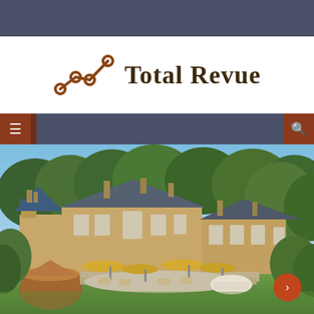Total Revue
Navigation bar with menu and search icons
[Figure (photo): Aerial/elevated view of a large stone country house or manor hotel surrounded by mature trees and lush green lawns. Yellow outdoor umbrellas and a terrace area visible in the foreground. Clear blue sky in the background. A circular wooden outbuilding is visible on the left.]